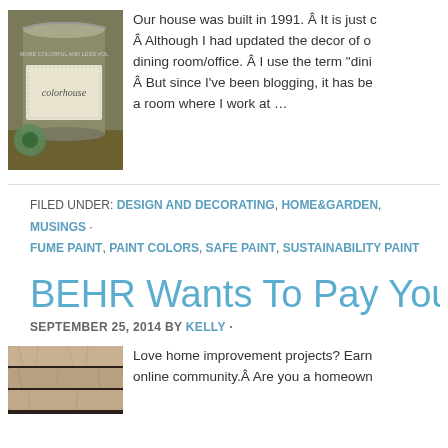[Figure (photo): Photo of a Colorhouse paint can with green masking tape on a surface]
Our house was built in 1991. Â It is just c... Â Although I had updated the decor of o... dining room/office. Â I use the term "dini... Â But since I've been blogging, it has be... a room where I work at …
FILED UNDER: DESIGN AND DECORATING, HOME&GARDEN, MUSINGS · FUME PAINT, PAINT COLORS, SAFE PAINT, SUSTAINABILITY PAINT
BEHR Wants To Pay You For You...
SEPTEMBER 25, 2014 BY KELLY ·
[Figure (photo): Photo of weathered wood boards]
Love home improvement projects? Earn... online community.Â  Are you a homeown...